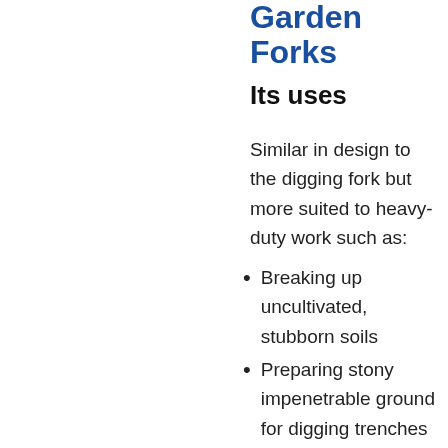Garden Forks
Its uses
Similar in design to the digging fork but more suited to heavy-duty work such as:
Breaking up uncultivated, stubborn soils
Preparing stony impenetrable ground for digging trenches